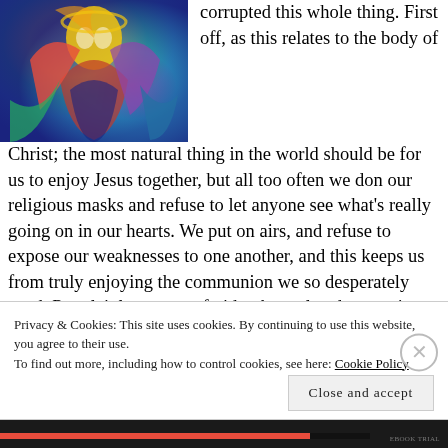[Figure (illustration): Colorful abstract painting of a figure with red, yellow, green, blue, and purple hues, likely a religious or spiritual artwork.]
corrupted this whole thing. First off, as this relates to the body of Christ; the most natural thing in the world should be for us to enjoy Jesus together, but all too often we don our religious masks and refuse to let anyone see what's really going on in our hearts. We put on airs, and refuse to expose our weaknesses to one another, and this keeps us from truly enjoying the communion we so desperately need. Put plainly, we are afraid to be real and many times opt to show each other the fake self we believe is safe for others to see. We don't
Privacy & Cookies: This site uses cookies. By continuing to use this website, you agree to their use.
To find out more, including how to control cookies, see here: Cookie Policy
Close and accept